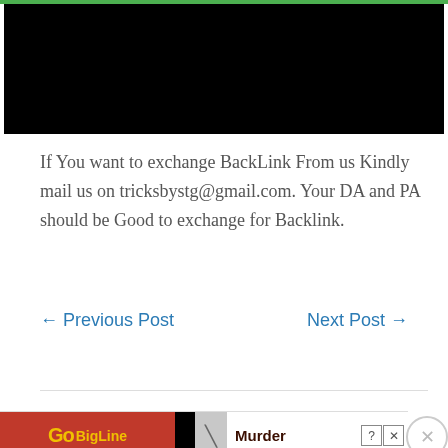[Figure (other): Black video player/thumbnail block at top of page]
If You want to exchange BackLink From us Kindly mail us on tricksbystg@gmail.com. Your DA and PA should be Good to exchange for Backlink.
← Previous Post    Next Post →
[Figure (screenshot): Advertisement banner showing a red background with yellow logo text, Murder text, close icons, and Victoria's Secret shop advertisement]